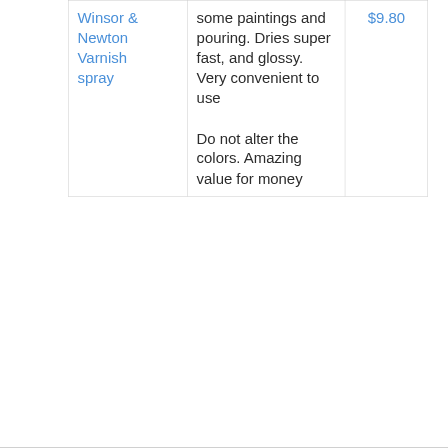| Product | Description | Price |
| --- | --- | --- |
| Winsor & Newton Varnish spray | some paintings and pouring. Dries super fast, and glossy. Very convenient to use
Do not alter the colors. Amazing value for money | $9.80 |